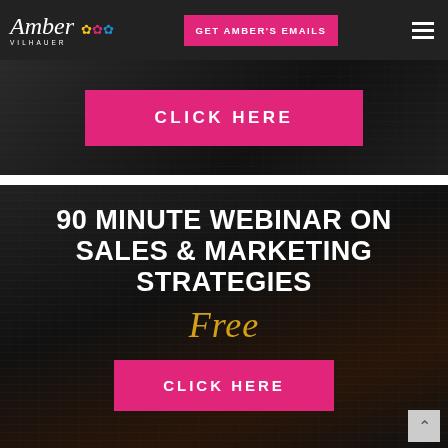Amber Vilhauer | GET AMBER'S EMAILS
[Figure (screenshot): Dark background section with a pink 'CLICK HERE' button centered on a dark keyboard/background image]
90 MINUTE WEBINAR ON SALES & MARKETING STRATEGIES
Free
[Figure (screenshot): Pink 'CLICK HERE' button on dark background in lower webinar section]